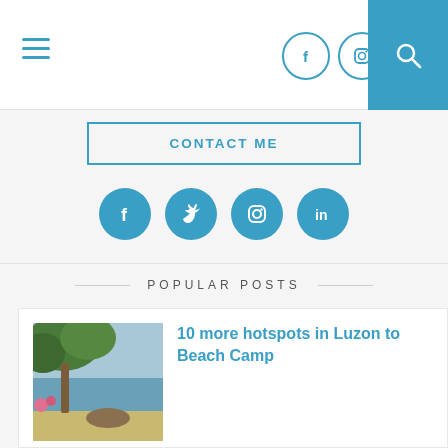Navigation bar with hamburger menu, Facebook and Instagram icons, and search button
CONTACT ME
[Figure (infographic): Four social media circular icons: Facebook (f), Twitter (bird), Instagram (camera), LinkedIn (in) in blue]
POPULAR POSTS
[Figure (photo): Beach scene with trees and sand]
10 more hotspots in Luzon to Beach Camp
Beach please. More specifical beach camping please. There is really nothing I want more now than to go to the beach and camp. Those...